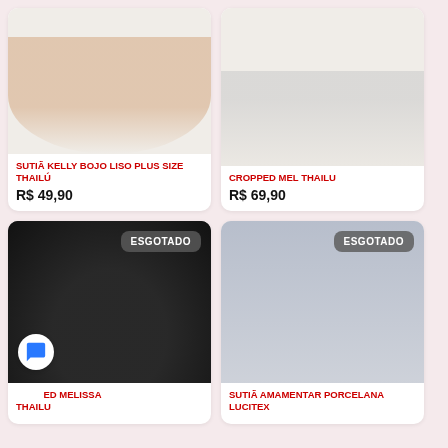[Figure (photo): Partial product photo of a bra, cut off at top, warm tones]
SUTIÃ KELLY BOJO LISO PLUS SIZE THAILÚ
R$ 49,90
[Figure (photo): Partial product photo of a lace cropped bra, gray/beige tones, cut off at top]
CROPPED MEL THAILU
R$ 69,90
[Figure (photo): Black lace bralette lingerie product photo with ESGOTADO badge]
CROPPED MELISSA THAILU
[Figure (photo): Pregnant woman wearing floral print bra and underwear set, with ESGOTADO badge]
SUTIÃ AMAMENTAR PORCELANA LUCITEX